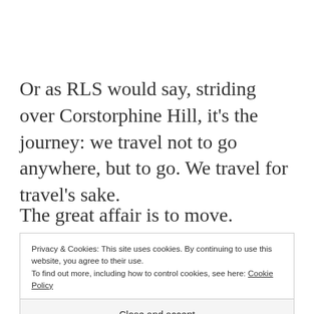Or as RLS would say, striding over Corstorphine Hill, it's the journey: we travel not to go anywhere, but to go. We travel for travel's sake.
The great affair is to move.
Privacy & Cookies: This site uses cookies. By continuing to use this website, you agree to their use.
To find out more, including how to control cookies, see here: Cookie Policy
Close and accept